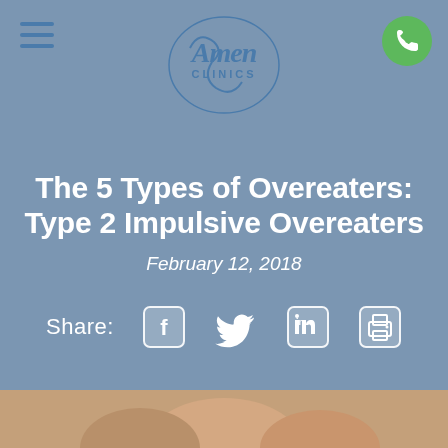[Figure (logo): Amen Clinics logo — stylized cursive 'Amen' with brain graphic and 'CLINICS' text]
The 5 Types of Overeaters: Type 2 Impulsive Overeaters
February 12, 2018
Share: [Facebook icon] [Twitter icon] [LinkedIn icon] [Print icon]
[Figure (photo): Partial photo of a person's face visible at the bottom of the page]